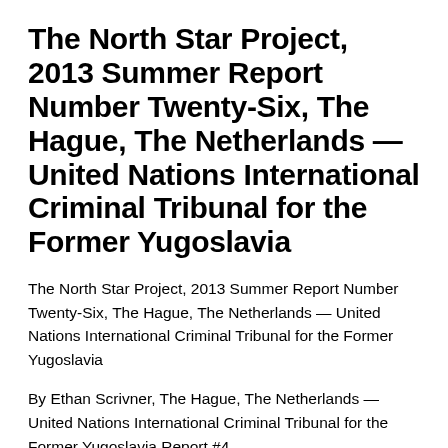The North Star Project, 2013 Summer Report Number Twenty-Six, The Hague, The Netherlands — United Nations International Criminal Tribunal for the Former Yugoslavia
The North Star Project, 2013 Summer Report Number Twenty-Six, The Hague, The Netherlands — United Nations International Criminal Tribunal for the Former Yugoslavia
By Ethan Scrivner, The Hague, The Netherlands — United Nations International Criminal Tribunal for the Former Yugoslavia Report #4